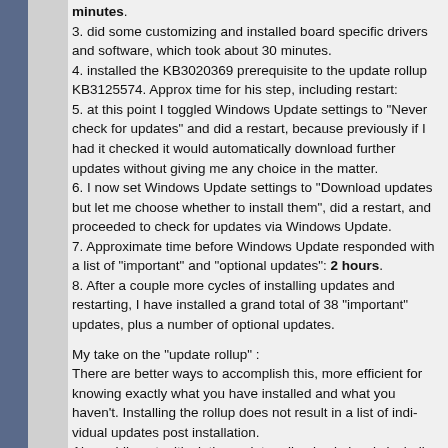minutes.
3. did some customizing and installed board spe... 30 minutes.
4. installed the KB3020369 prerequisite to the up... KB3125574. Approx time for his step, including r...
5. at this point I toggled Windows Update settings... did a restart, because previously if I had it check... further updates without giving me any choice in t...
6. I now set Windows Update settings to "Downlo... whether to install them", did a restart, and procee... Windows Update.
7. Approximate time before Windows Update res... "important" and "optional updates": 2 hours.
8. After a couple more cycles of installing update... installed a grand total of 38 "important" updates, ... updates.
My take on the "update rollup" :
There are better ways to accomplish this, more e... knowing exactly what you have installed and wha... Installing the rollup does not result in a list of indi... installation.
Also, while not critical, the update rollup is obvio... updates that were previously considered "optiona...
On the upside, after installing the rollup, Window...